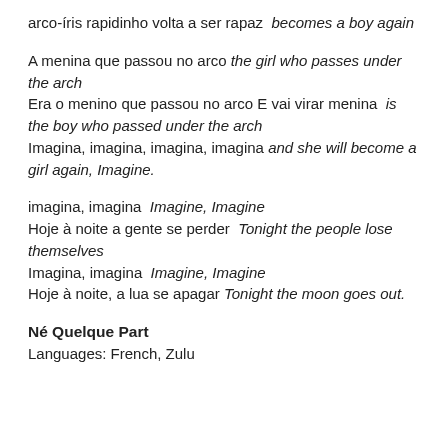arco-íris rapidinho volta a ser rapaz  becomes a boy again
A menina que passou no arco the girl who passes under the arch
Era o menino que passou no arco E vai virar menina  is the boy who passed under the arch
Imagina, imagina, imagina, imagina and she will become a girl again, Imagine.
imagina, imagina  Imagine, Imagine
Hoje à noite a gente se perder  Tonight the people lose themselves
Imagina, imagina  Imagine, Imagine
Hoje à noite, a lua se apagar Tonight the moon goes out.
Né Quelque Part
Languages: French, Zulu